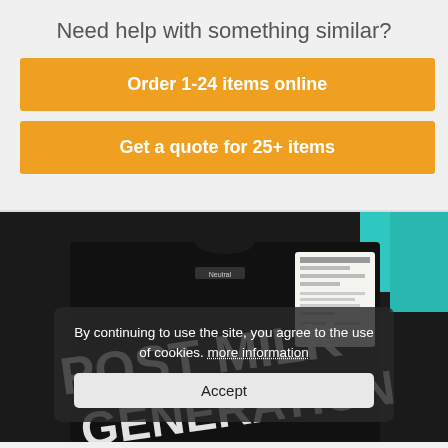Need help with something similar?
Order 1-24 items online
Get a quote for 25+ items
[Figure (photo): Black t-shirt with 'POST MILK GENERATION' text printed in white bubble letters, with a tag visible, laid flat on a dark surface with teal fabric visible at edge.]
By continuing to use the site, you agree to the use of cookies. more information
Accept